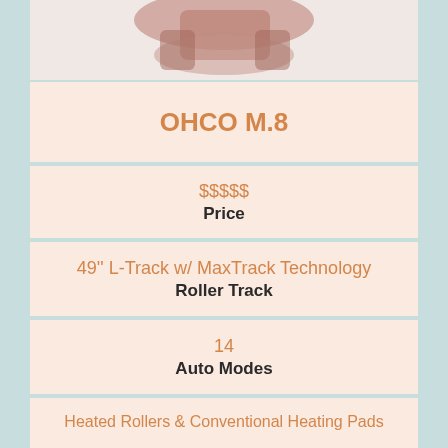[Figure (photo): Partial top view of OHCO M.8 massage chair product photo]
OHCO M.8
| $$$$$ | Price |
| 49'' L-Track w/ MaxTrack Technology | Roller Track |
| 14 | Auto Modes |
| Heated Rollers & Conventional Heating Pads | Heating System |
| Yes |  |